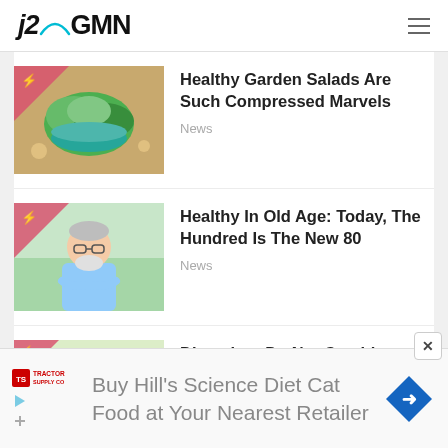j2GMN
[Figure (photo): Thumbnail of garden salad with greens in a teal bowl]
Healthy Garden Salads Are Such Compressed Marvels
News
[Figure (photo): Thumbnail of elderly man with grey beard and crossed arms outdoors]
Healthy In Old Age: Today, The Hundred Is The New 80
News
[Figure (photo): Thumbnail of digestion/food related image]
Digestion: Do Not Combine
[Figure (other): Advertisement banner: Buy Hill's Science Diet Cat Food at Your Nearest Retailer, with Tractor Supply Co logo and blue diamond navigation arrow]